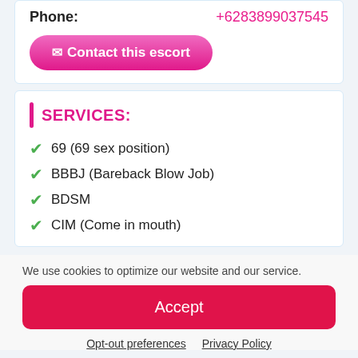Phone: +6283899037545
Contact this escort
SERVICES:
69 (69 sex position)
BBBJ (Bareback Blow Job)
BDSM
CIM (Come in mouth)
We use cookies to optimize our website and our service.
Accept
Opt-out preferences  Privacy Policy